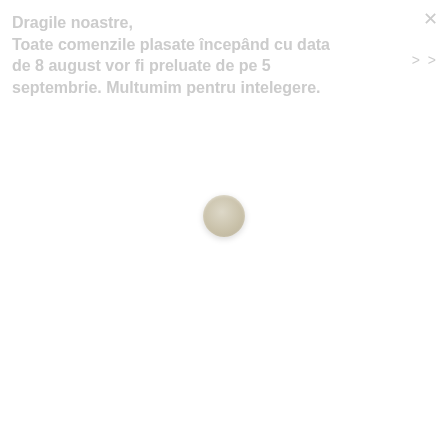Dragile noastre, Toate comenzile plasate începând cu data de 8 august vor fi preluate de pe 5 septembrie. Multumim pentru intelegere.
[Figure (other): A loading spinner or decorative circular element with a beige/tan gradient fill, centered on the page]